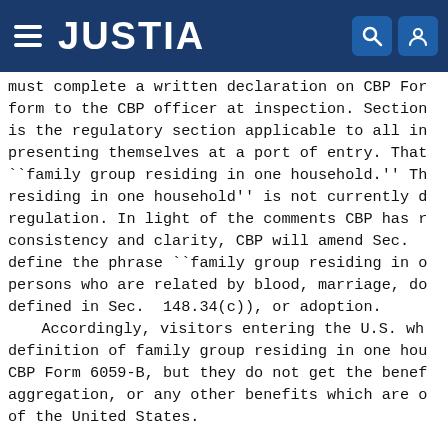JUSTIA
must complete a written declaration on CBP Form to the CBP officer at inspection. Section is the regulatory section applicable to all individuals presenting themselves at a port of entry. That ``family group residing in one household.'' The residing in one household'' is not currently defined in the regulation. In light of the comments CBP has received, for consistency and clarity, CBP will amend Sec. to define the phrase ``family group residing in one household'' as persons who are related by blood, marriage, domestic partnership (as defined in Sec. 148.34(c)), or adoption. Accordingly, visitors entering the U.S. who meet the definition of family group residing in one household must file CBP Form 6059-B, but they do not get the benefit of aggregation, or any other benefits which are only available to residents of the United States.